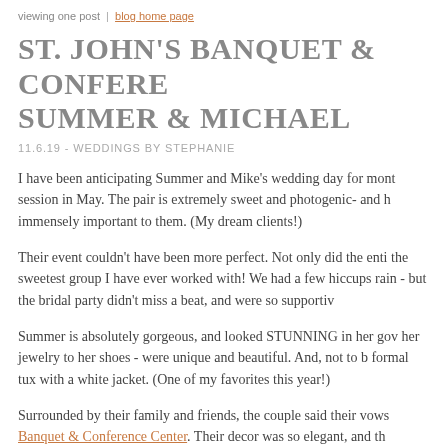viewing one post  |  blog home page
ST. JOHN'S BANQUET & CONFERENCE CENTER | SUMMER & MICHAEL
11.6.19 - WEDDINGS BY STEPHANIE
I have been anticipating Summer and Mike's wedding day for months, ever since their engagement session in May. The pair is extremely sweet and photogenic- and having quality photography is immensely important to them. (My dream clients!)
Their event couldn't have been more perfect. Not only did the entire family and bridal party were the sweetest group I have ever worked with! We had a few hiccups along the way- including some rain - but the bridal party didn't miss a beat, and were so supportive
Summer is absolutely gorgeous, and looked STUNNING in her gown. Every detail - from her jewelry to her shoes - were unique and beautiful. And, not to be outdone, Michael wore a formal tux with a white jacket. (One of my favorites this year!)
Surrounded by their family and friends, the couple said their vows at St. John's Banquet & Conference Center. Their decor was so elegant, and th